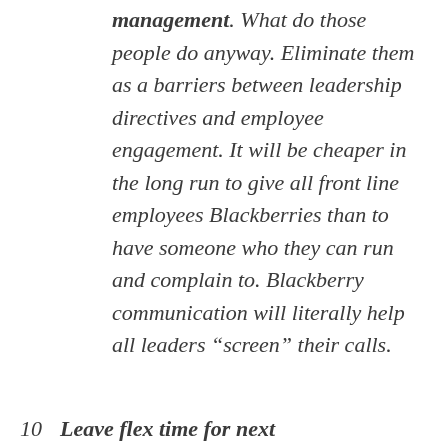management. What do those people do anyway. Eliminate them as a barriers between leadership directives and employee engagement. It will be cheaper in the long run to give all front line employees Blackberries than to have someone who they can run and complain to. Blackberry communication will literally help all leaders “screen” their calls.
10  Leave flex time for next